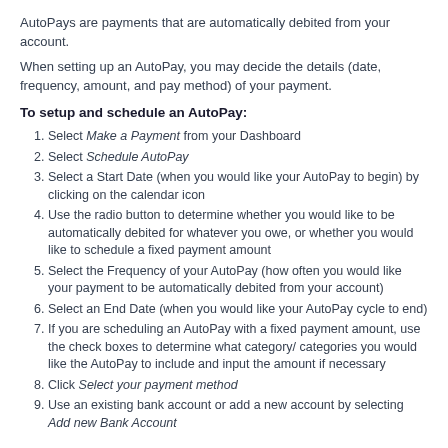AutoPays are payments that are automatically debited from your account.
When setting up an AutoPay, you may decide the details (date, frequency, amount, and pay method) of your payment.
To setup and schedule an AutoPay:
Select Make a Payment from your Dashboard
Select Schedule AutoPay
Select a Start Date (when you would like your AutoPay to begin) by clicking on the calendar icon
Use the radio button to determine whether you would like to be automatically debited for whatever you owe, or whether you would like to schedule a fixed payment amount
Select the Frequency of your AutoPay (how often you would like your payment to be automatically debited from your account)
Select an End Date (when you would like your AutoPay cycle to end)
If you are scheduling an AutoPay with a fixed payment amount, use the check boxes to determine what category/ categories you would like the AutoPay to include and input the amount if necessary
Click Select your payment method
Use an existing bank account or add a new account by selecting Add new Bank Account